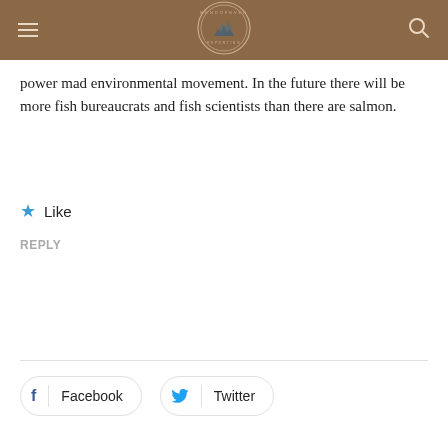[Figure (logo): MendoFever Reporting circular logo in the header bar]
power mad environmental movement. In the future there will be more fish bureaucrats and fish scientists than there are salmon.
Like
REPLY
Facebook
Twitter